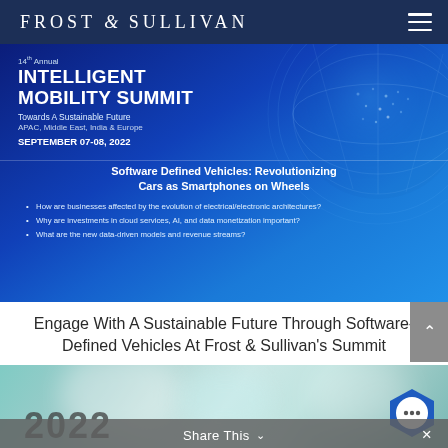FROST & SULLIVAN
[Figure (screenshot): 14th Annual Intelligent Mobility Summit banner with blue globe graphic. Text: '14th Annual INTELLIGENT MOBILITY SUMMIT Towards A Sustainable Future APAC, Middle East, India & Europe SEPTEMBER 07-08, 2022. Software Defined Vehicles: Revolutionizing Cars as Smartphones on Wheels. Bullet points: How are businesses affected by the evolution of electrical/electronic architectures? Why are investments in cloud services, AI, and data monetization important? What are the new data-driven models and revenue streams?']
Engage With A Sustainable Future Through Software-Defined Vehicles At Frost & Sullivan's Summit
[Figure (photo): Blurred teal/aqua abstract background image with '2022' text overlay partially visible at bottom]